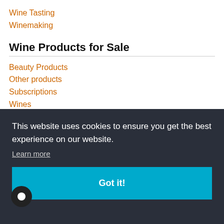Wine Tasting
Winemaking
Wine Products for Sale
Beauty Products
Other products
Subscriptions
Wines
Tags
[Figure (other): Cookie consent banner with dark background reading 'This website uses cookies to ensure you get the best experience on our website.' with a Learn more link and a 'Got it!' button in teal. Background shows partial wine tag cloud (ico, anti, gio, erlot, in) and bottom row: Chianti, red wine, red wines, rosé wine, Sangiovese. A chat bubble icon appears at bottom-left.]